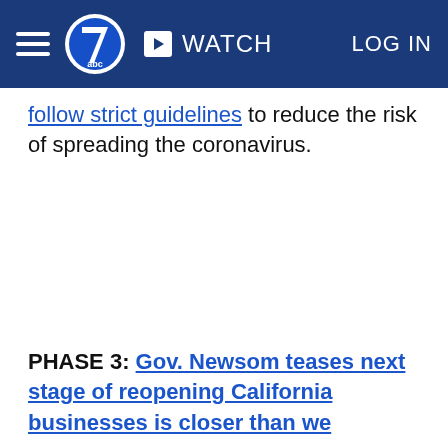ABC7 News — WATCH | LOG IN
follow strict guidelines to reduce the risk of spreading the coronavirus.
PHASE 3: Gov. Newsom teases next stage of reopening California businesses is closer than we